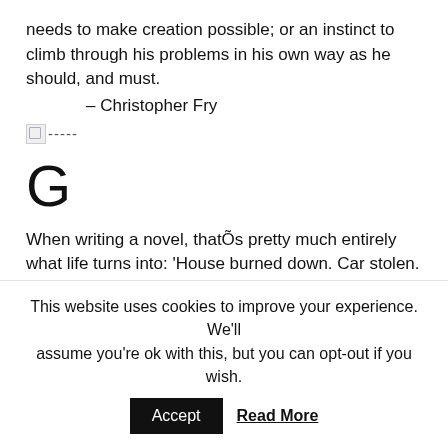needs to make creation possible; or an instinct to climb through his problems in his own way as he should, and must.
– Christopher Fry
[Figure (other): Broken image icon followed by dashes: -----]
G
When writing a novel, thatÕs pretty much entirely what life turns into: 'House burned down. Car stolen. Cat exploded. Did 1500 easy words, so all in all it was a pretty good day.'
– Neil Gaiman
In nearly all good fiction, the basic – all but inescapable – plot
This website uses cookies to improve your experience. We'll assume you're ok with this, but you can opt-out if you wish.
Accept   Read More